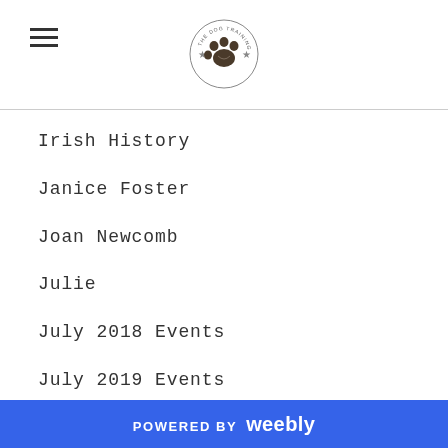[Logo: paw print circular badge]
Irish History
Janice Foster
Joan Newcomb
Julie
July 2018 Events
July 2019 Events
June 2019 Events
Katherine E Tapley Milton
Katherine E Tapley-Milton
POWERED BY weebly